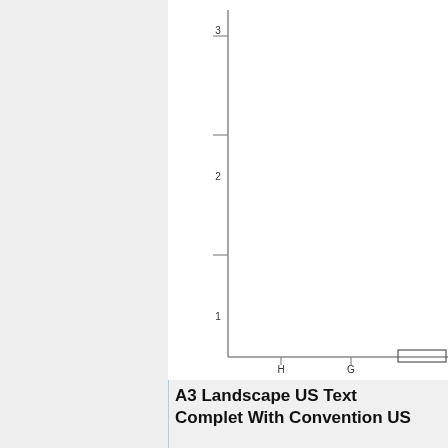[Figure (engineering-diagram): Partial view of an engineering drawing showing a vertical axis with tick marks labeled 3, 2, 1 from top to bottom, and a horizontal axis at the bottom with labels H and G visible. The chart appears to be a grid/scale diagram cropped at the right and bottom edges.]
A3 Landscape US Text
Complet With Convention US